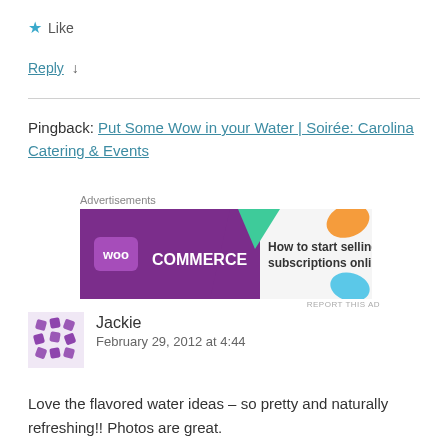★ Like
Reply ↓
Pingback: Put Some Wow in your Water | Soirée: Carolina Catering & Events
[Figure (other): WooCommerce advertisement banner: purple banner with WooCommerce logo and text 'How to start selling subscriptions online' with colorful decorative shapes]
Jackie
February 29, 2012 at 4:44
Love the flavored water ideas – so pretty and naturally refreshing!! Photos are great.